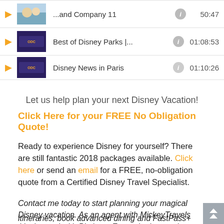[Figure (screenshot): Playlist row: play button, thumbnail of Disney characters, title '...and Company 11', info icon, duration 50:47]
[Figure (screenshot): Playlist row: play button, dark thumbnail with logo, title 'Best of Disney Parks |...', info icon, duration 01:08:53]
[Figure (screenshot): Playlist row partially visible: play button, dark thumbnail, title 'Disney News in Paris', info icon, duration 01:10:26 (cut off)]
Let us help plan your next Disney Vacation!
Click Here for your FREE No Obligation Quote!
Ready to experience Disney for yourself? There are still fantastic 2018 packages available. Click here or send an email for a FREE, no-obligation quote from a Certified Disney Travel Specialist.
Contact me today to start planning your magical Disney vacation. As an agent with MickeyTravels (designated with Platinum Earmarked status by Disney), my goal is to help you plan the Magic your way. I create customized itineraries, book advanced dining and FastPass+